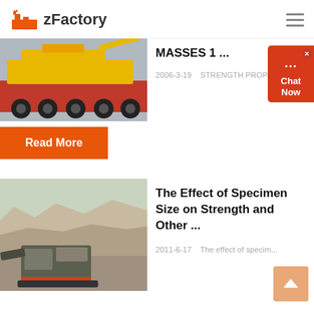zFactory
[Figure (photo): Heavy yellow construction equipment on a red flatbed truck]
MASSES 1 ...
2006-3-19   STRENGTH PROP...
Read More
[Figure (photo): Mobile jaw crusher in a quarry/mining site]
The Effect of Specimen Size on Strength and Other ...
2011-6-17   The effect of specim...